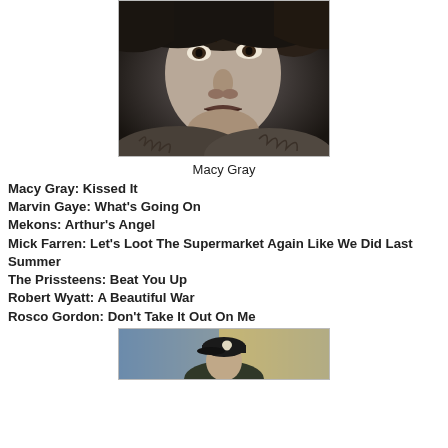[Figure (photo): Black and white close-up portrait photo of Macy Gray, a woman with dark hair wearing a fur collar, looking intensely at the camera.]
Macy Gray
Macy Gray: Kissed It
Marvin Gaye: What's Going On
Mekons: Arthur's Angel
Mick Farren: Let's Loot The Supermarket Again Like We Did Last Summer
The Prissteens: Beat You Up
Robert Wyatt: A Beautiful War
Rosco Gordon: Don't Take It Out On Me
[Figure (photo): Color photo of a person wearing a black cap with a skull design, standing in front of a colorful background.]